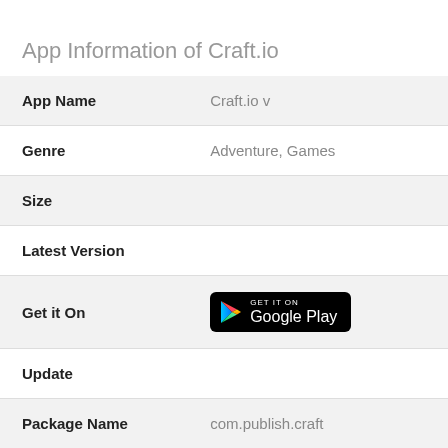App Information of Craft.io
| App Name | Craft.io v |
| Genre | Adventure, Games |
| Size |  |
| Latest Version |  |
| Get it On | [Google Play badge] |
| Update |  |
| Package Name | com.publish.craft |
| Rating | ★ (👤7600) |